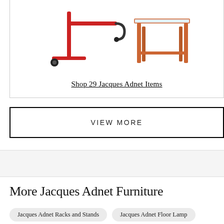[Figure (photo): Product image showing Jacques Adnet furniture items: a red metal coat rack/stand with a hook and caster wheel on the left, and a wooden side table with red frame and glass top on the right]
Shop 29 Jacques Adnet Items
VIEW MORE
More Jacques Adnet Furniture
Jacques Adnet Racks and Stands
Jacques Adnet Floor Lamps